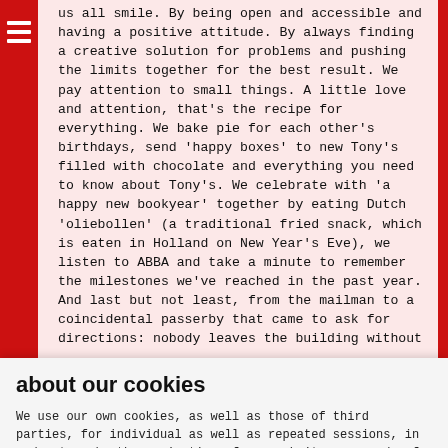us all smile. By being open and accessible and having a positive attitude. By always finding a creative solution for problems and pushing the limits together for the best result. We pay attention to small things. A little love and attention, that's the recipe for everything. We bake pie for each other's birthdays, send 'happy boxes' to new Tony's filled with chocolate and everything you need to know about Tony's. We celebrate with 'a happy new bookyear' together by eating Dutch 'oliebollen' (a traditional fried snack, which is eaten in Holland on New Year's Eve), we listen to ABBA and take a minute to remember the milestones we've reached in the past year. And last but not least, from the mailman to a coincidental passerby that came to ask for directions: nobody leaves the building without
about our cookies
We use our own cookies, as well as those of third parties, for individual as well as repeated sessions, in order to make the navigation of our website easy and safe for our users.